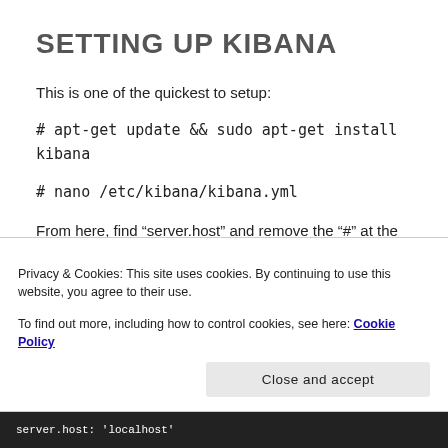SETTING UP KIBANA
This is one of the quickest to setup:
From here, find “server.host” and remove the “#” at the beginning of the line. Then, add “localhost” as your address. Your configuration file should look like mine
Privacy & Cookies: This site uses cookies. By continuing to use this website, you agree to their use.
To find out more, including how to control cookies, see here: Cookie Policy
[Figure (screenshot): Terminal showing server.host: 'localhost']